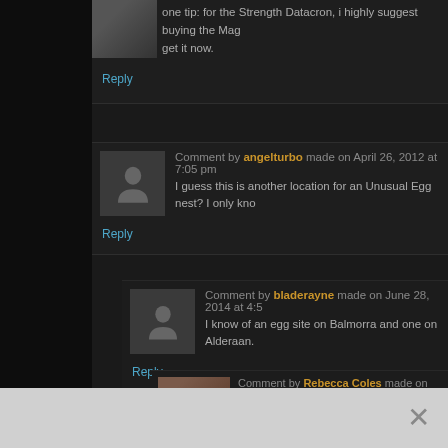one tip: for the Strength Datacron, i highly suggest buying the Mag... get it now.
Reply
Comment by angelturbo made on April 26, 2012 at 7:05 pm
I guess this is another location for an Unusual Egg nest? I only kno...
Reply
Comment by bladerayne made on June 28, 2014 at 4:5...
I know of an egg site on Balmorra and one on Alderaan.
Reply
Comment by Rebecca Coles made on Janua...
What's this about unusual egg sites.